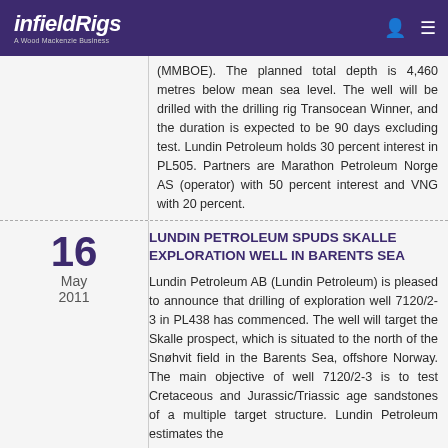infieldRigs — A Wood Mackenzie Business
(MMBOE). The planned total depth is 4,460 metres below mean sea level. The well will be drilled with the drilling rig Transocean Winner, and the duration is expected to be 90 days excluding test. Lundin Petroleum holds 30 percent interest in PL505. Partners are Marathon Petroleum Norge AS (operator) with 50 percent interest and VNG with 20 percent.
LUNDIN PETROLEUM SPUDS SKALLE EXPLORATION WELL IN BARENTS SEA
16 May 2011
Lundin Petroleum AB (Lundin Petroleum) is pleased to announce that drilling of exploration well 7120/2-3 in PL438 has commenced. The well will target the Skalle prospect, which is situated to the north of the Snøhvit field in the Barents Sea, offshore Norway. The main objective of well 7120/2-3 is to test Cretaceous and Jurassic/Triassic age sandstones of a multiple target structure. Lundin Petroleum estimates the Skalle prospect to contain a risked...